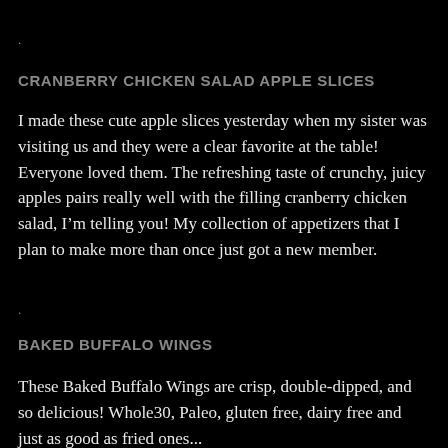.
CRANBERRY CHICKEN SALAD APPLE SLICES
I made these cute apple slices yesterday when my sister was visiting us and they were a clear favorite at the table! Everyone loved them. The refreshing taste of crunchy, juicy apples pairs really well with the filling cranberry chicken salad, I'm telling you! My collection of appetizers that I plan to make more than once just got a new member.
.
BAKED BUFFALO WINGS
These Baked Buffalo Wings are crisp, double-dipped, and so delicious! Whole30, Paleo, gluten free, dairy free and just as good as fried ones...